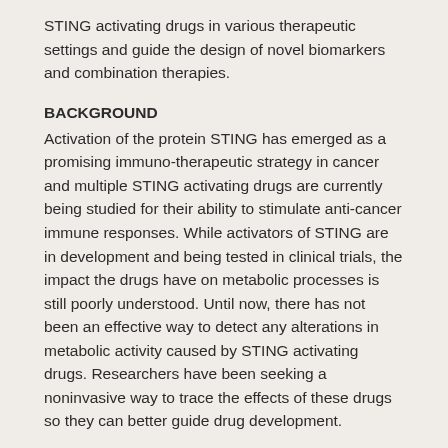STING activating drugs in various therapeutic settings and guide the design of novel biomarkers and combination therapies.
BACKGROUND
Activation of the protein STING has emerged as a promising immuno-therapeutic strategy in cancer and multiple STING activating drugs are currently being studied for their ability to stimulate anti-cancer immune responses. While activators of STING are in development and being tested in clinical trials, the impact the drugs have on metabolic processes is still poorly understood. Until now, there has not been an effective way to detect any alterations in metabolic activity caused by STING activating drugs. Researchers have been seeking a noninvasive way to trace the effects of these drugs so they can better guide drug development.
METHOD